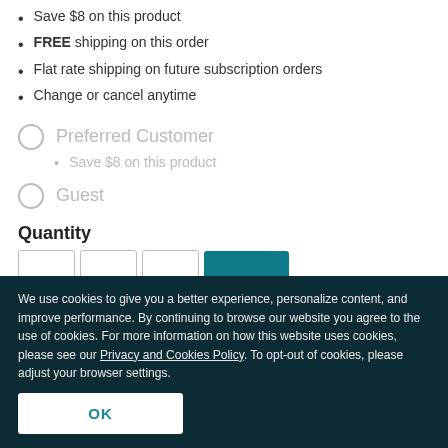Save $8 on this product
FREE shipping on this order
Flat rate shipping on future subscription orders
Change or cancel anytime
Preferred Customer
Save $8 on this product
Guest
Quantity
We use cookies to give you a better experience, personalize content, and improve performance. By continuing to browse our website you agree to the use of cookies. For more information on how this website uses cookies, please see our Privacy and Cookies Policy. To opt-out of cookies, please adjust your browser settings.
OK